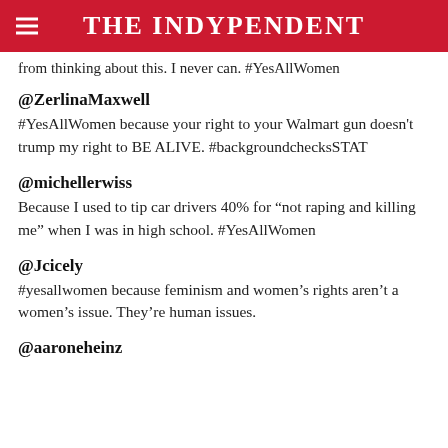THE INDYPENDENT
from thinking about this. I never can. #YesAllWomen
@ZerlinaMaxwell
#YesAllWomen because your right to your Walmart gun doesn't trump my right to BE ALIVE. #backgroundchecksSTAT
@michellerwiss
Because I used to tip car drivers 40% for “not raping and killing me” when I was in high school. #YesAllWomen
@Jcicely
#yesallwomen because feminism and women’s rights aren’t a women’s issue. They’re human issues.
@aaroneheinz